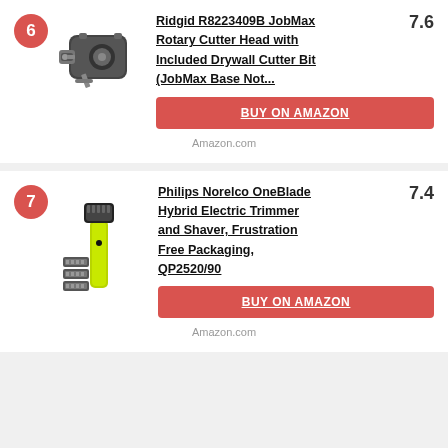6 - Ridgid R8223409B JobMax Rotary Cutter Head with Included Drywall Cutter Bit (JobMax Base Not... - Score: 7.6 - BUY ON AMAZON - Amazon.com
7 - Philips Norelco OneBlade Hybrid Electric Trimmer and Shaver, Frustration Free Packaging, QP2520/90 - Score: 7.4 - BUY ON AMAZON - Amazon.com